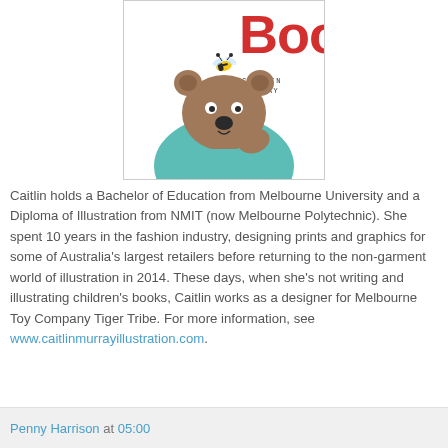[Figure (illustration): Book cover illustration showing a brown bear wearing a teal/turquoise top, with a small bee on its head. Red text 'Boo' at the top right. Author name 'CAITLIN MURRAY' on the cover.]
Caitlin holds a Bachelor of Education from Melbourne University and a Diploma of Illustration from NMIT (now Melbourne Polytechnic). She spent 10 years in the fashion industry, designing prints and graphics for some of Australia's largest retailers before returning to the non-garment world of illustration in 2014. These days, when she's not writing and illustrating children's books, Caitlin works as a designer for Melbourne Toy Company Tiger Tribe. For more information, see www.caitlinmurrayillustration.com.
Penny Harrison at 05:00